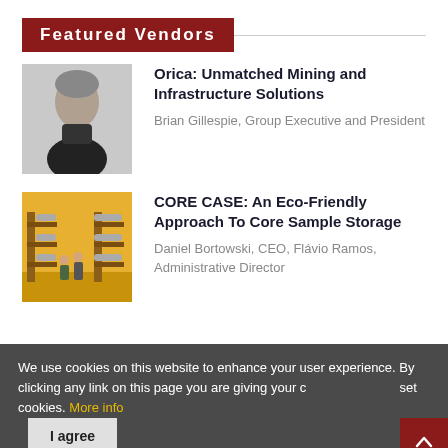Featured Vendors
[Figure (photo): Headshot of Brian Gillespie, a middle-aged man in a dark top against a light background]
Orica: Unmatched Mining and Infrastructure Solutions
Brian Gillespie, Group Executive and President
[Figure (photo): Two people in a warehouse with tall shelving racks storing cylindrical core samples]
CORE CASE: An Eco-Friendly Approach To Core Sample Storage
Daniel Bortowski, CEO, Flávio Ramos, Administrative Director
We use cookies on this website to enhance your user experience. By clicking any link on this page you are giving your consent for us to set cookies. More info